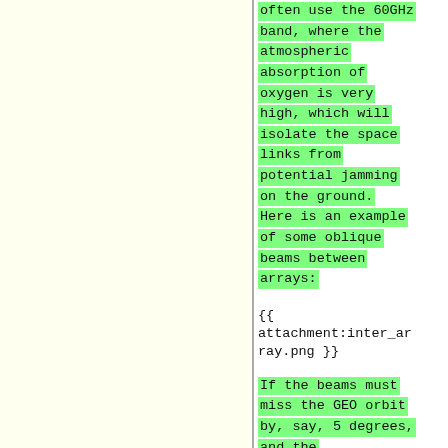often use the 60GHz band, where the atmospheric absorption of oxygen is very high, which will isolate the space links from potential jamming on the ground. Here is an example of some oblique beams between arrays:
{{ attachment:inter_array.png }}
If the beams must miss the GEO orbit by, say, 5 degrees, and the communication partners are 300km